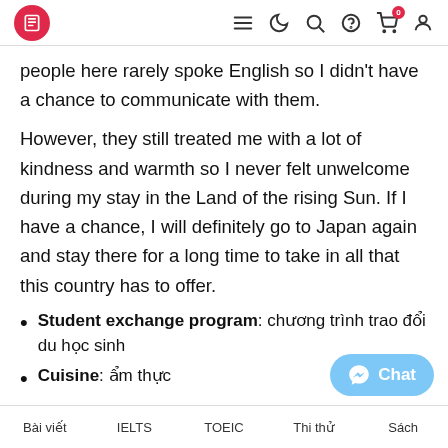[Navigation bar with logo, hamburger menu, dark mode, search, help, cart (0), user icons]
people here rarely spoke English so I didn't have a chance to communicate with them.
However, they still treated me with a lot of kindness and warmth so I never felt unwelcome during my stay in the Land of the rising Sun. If I have a chance, I will definitely go to Japan again and stay there for a long time to take in all that this country has to offer.
Student exchange program: chương trình trao đổi du học sinh
Cuisine: ẩm thực
Harmony: sự hòa hợp
Nostalgic: sự hoài niệm
Bài viết   IELTS   TOEIC   Thi thử   Sách